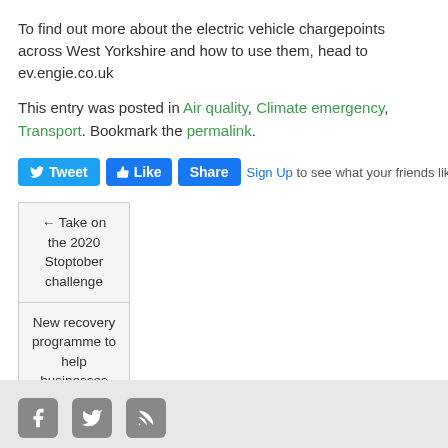To find out more about the electric vehicle chargepoints across West Yorkshire and how to use them, head to ev.engie.co.uk
This entry was posted in Air quality, Climate emergency, Transport. Bookmark the permalink.
[Figure (other): Social sharing buttons: Tweet (Twitter/blue), Like (Facebook/blue), Share (Facebook/blue), Sign Up link to see what your friends like]
← Take on the 2020 Stoptober challenge
New recovery programme to help businesses bounce back →
Footer with social media icons (Facebook, Twitter, RSS)